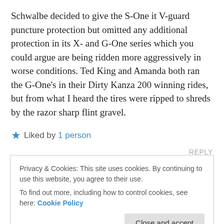Schwalbe decided to give the S-One it V-guard puncture protection but omitted any additional protection in its X- and G-One series which you could argue are being ridden more aggressively in worse conditions. Ted King and Amanda both ran the G-One's in their Dirty Kanza 200 winning rides, but from what I heard the tires were ripped to shreds by the razor sharp flint gravel.
★ Liked by 1 person
REPLY
Privacy & Cookies: This site uses cookies. By continuing to use this website, you agree to their use.
To find out more, including how to control cookies, see here: Cookie Policy
Close and accept
Yeah, it's an interesting one. So far the S-One are